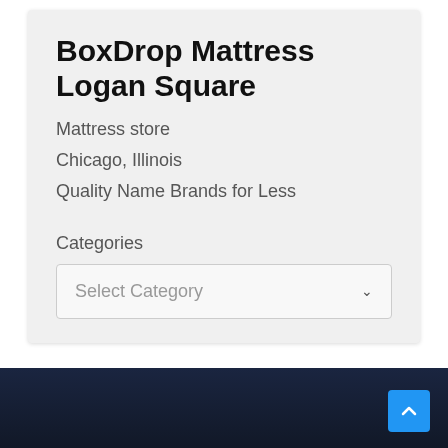BoxDrop Mattress Logan Square
Mattress store
Chicago, Illinois
Quality Name Brands for Less
Categories
Select Category